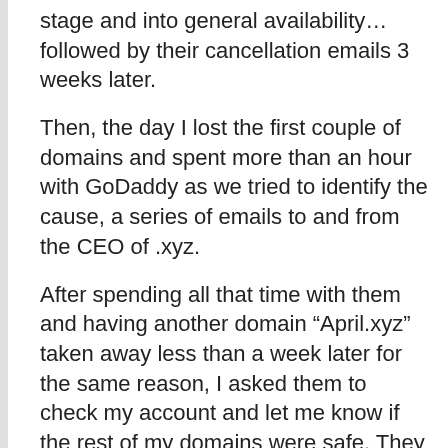stage and into general availability… followed by their cancellation emails 3 weeks later.
Then, the day I lost the first couple of domains and spent more than an hour with GoDaddy as we tried to identify the cause, a series of emails to and from the CEO of .xyz.
After spending all that time with them and having another domain “April.xyz” taken away less than a week later for the same reason, I asked them to check my account and let me know if the rest of my domains were safe. They said everything else looked fine, so I asked them to put it in writing. I needed it in writing so I could hold them accountable